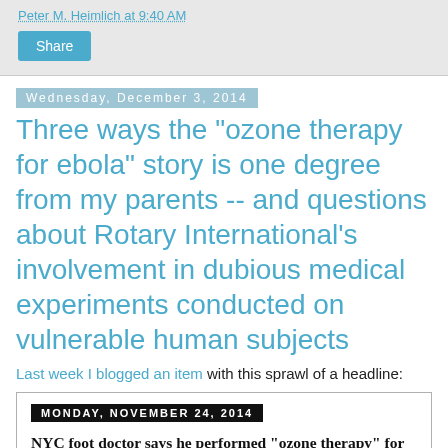Peter M. Heimlich at 9:40 AM
Share
Wednesday, December 3, 2014
Three ways the "ozone therapy for ebola" story is one degree from my parents -- and questions about Rotary International's involvement in dubious medical experiments conducted on vulnerable human subjects
Last week I blogged an item with this sprawl of a headline:
MONDAY, NOVEMBER 24, 2014
NYC foot doctor says he performed "ozone therapy" for ebola on the president of Sierra Leone -- claims funding came from Rotary; Santa Rosa, CA doc who partnered on the aborted project claims Sierra